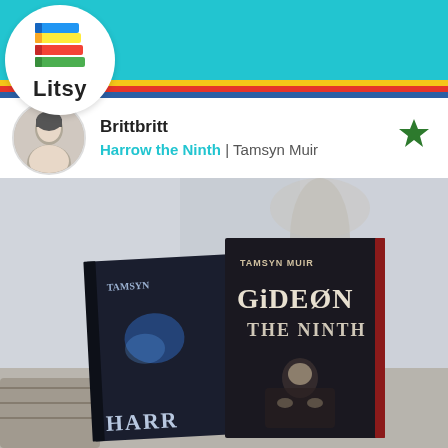[Figure (screenshot): Litsy app screenshot showing navigation bar with teal background, Litsy logo (colorful stacked books), home, search, add, activity, and profile icons]
[Figure (logo): Litsy logo: colorful stacked books icon with 'Litsy' text below, inside a white circle]
Brittbritt
Harrow the Ninth | Tamsyn Muir
[Figure (photo): Photo of two books on a table: Harrow the Ninth and Gideon the Ninth by Tamsyn Muir, with a blurred vase of dried flowers in the background]